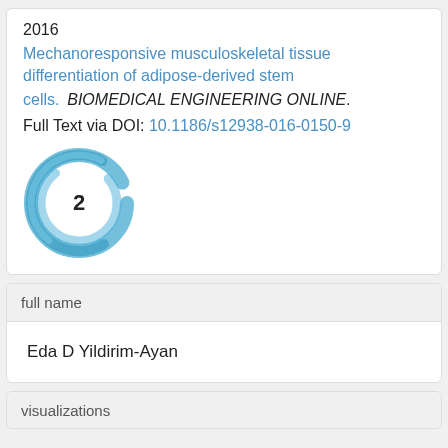2016
Mechanoresponsive musculoskeletal tissue differentiation of adipose-derived stem cells.  BIOMEDICAL ENGINEERING ONLINE.
Full Text via DOI: 10.1186/s12938-016-0150-9
[Figure (other): Circular blue swirl badge with number 2 in the center]
| full name |
| --- |
| Eda D Yildirim-Ayan |
visualizations